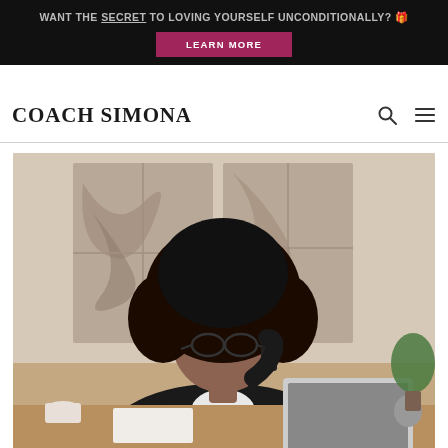WANT THE SECRET TO LOVING YOURSELF UNCONDITIONALLY? 🎁
LEARN MORE
COACH SIMONA
[Figure (photo): A Black woman with a large natural afro hairstyle, wearing glasses and a black blazer, sitting at a desk talking on a phone while writing notes. A laptop is open in front of her, and there is a decorative swirled marble artwork visible in the background window.]